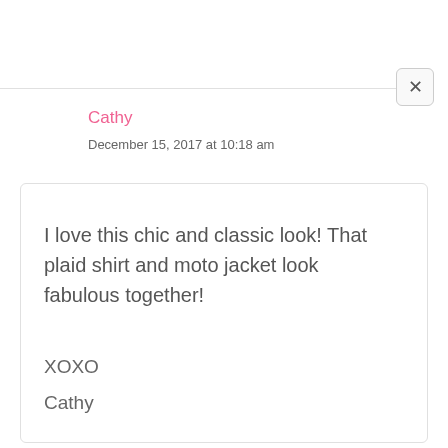Cathy
December 15, 2017 at 10:18 am
I love this chic and classic look! That plaid shirt and moto jacket look fabulous together!

XOXO

Cathy